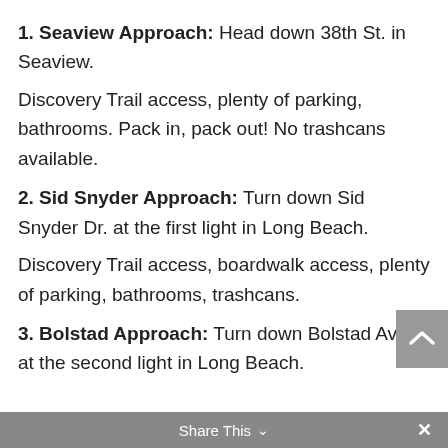1. Seaview Approach: Head down 38th St. in Seaview.

Discovery Trail access, plenty of parking, bathrooms. Pack in, pack out! No trashcans available.
2. Sid Snyder Approach: Turn down Sid Snyder Dr. at the first light in Long Beach.

Discovery Trail access, boardwalk access, plenty of parking, bathrooms, trashcans.
3. Bolstad Approach: Turn down Bolstad Ave. at the second light in Long Beach.
Share This ×